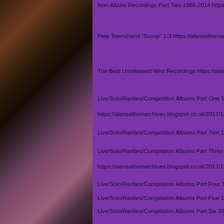Non-Album Recordings Part Two 1968-2014 https://alansalbumarchives.blogspot...
Pete Townshend “Scoop” 1-3 https://alansalbumarchives.blogspot...
The Best Unreleased Who Recordings https://alansalbumarchives.blogspot...
Live/Solo/Rarities/Competition Albums Part One 1965-1972
https://alansalbumarchives.blogspot.co.uk/2017/10/the-who-live...
Live/Solo/Rarities/Competition Albums Part Two 1972-1975 htt...
Live/Solo/Rarities/Compilation Albums Part Three 1976-1982
https://alansalbumarchives.blogspot.co.uk/2017/10/the-who-live...
Live/Solo/Rarities/Compilation Albums Part Four 1983-1990 htt...
Live/Solo/Rarities/Compilation Albums Part Five 1991-2000 htt...
Live/Solo/Rarities/Compilation Albums Part Six 2001-2014 https://alansalbumarchives.blogspot.co.uk/2017/11/the-who-lives...
Landmark Concerts and Key Cover Versions http://alansalbumar...